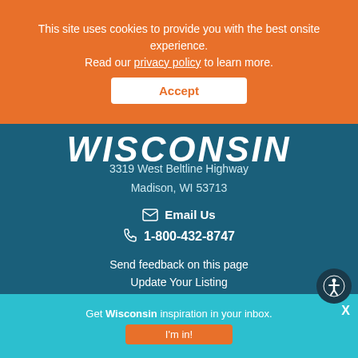This site uses cookies to provide you with the best onsite experience. Read our privacy policy to learn more.
Accept
[Figure (logo): Wisconsin tourism logo in stylized bold italic white text]
3319 West Beltline Highway
Madison, WI 53713
Email Us
1-800-432-8747
Send feedback on this page
Update Your Listing
Submit your Event
[Figure (photo): Wisconsin travel guide magazine cover showing WISCONSIN text and a person with raised arms]
ORDER GUIDES
Get Wisconsin inspiration in your inbox.
I'm in!